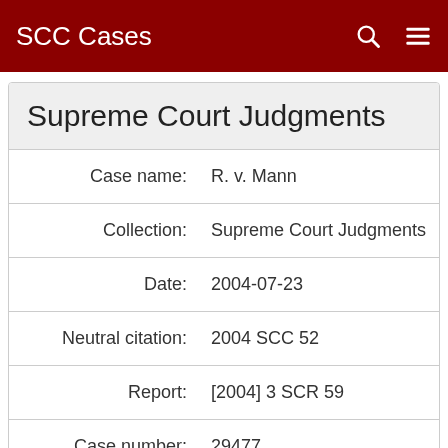SCC Cases
Supreme Court Judgments
| Field | Value |
| --- | --- |
| Case name: | R. v. Mann |
| Collection: | Supreme Court Judgments |
| Date: | 2004-07-23 |
| Neutral citation: | 2004 SCC 52 |
| Report: | [2004] 3 SCR 59 |
| Case number: | 29477 |
| Judges: | Iacobucci, Frank; Major, John C.; Bastarache, Michel; Binnie, William Ian Corneil; LeBel, Louis; |